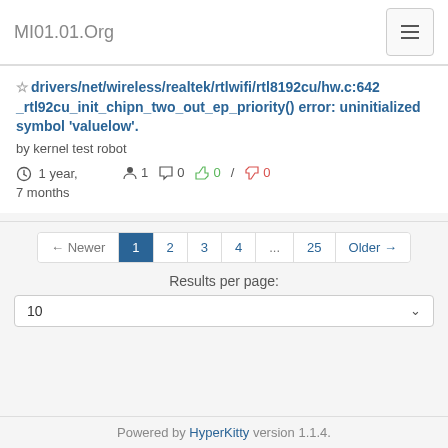MI01.01.Org
drivers/net/wireless/realtek/rtlwifi/rtl8192cu/hw.c:642 _rtl92cu_init_chipn_two_out_ep_priority() error: uninitialized symbol 'valuelow'.
by kernel test robot
1 year, 7 months  1  0  0 / 0
← Newer 1 2 3 4 ... 25 Older →
Results per page:
10
Powered by HyperKitty version 1.1.4.